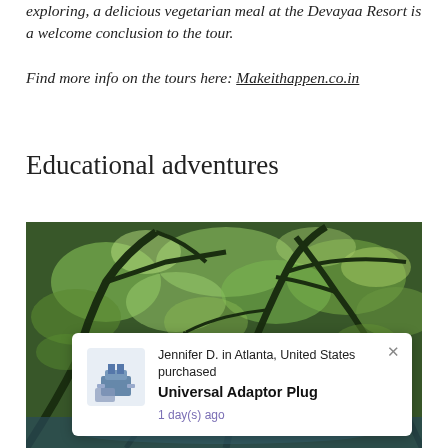exploring, a delicious vegetarian meal at the Devayaa Resort is a welcome conclusion to the tour.

Find more info on the tours here: Makeithappen.co.in
Educational adventures
[Figure (photo): Forest scene looking up through tree canopy with green leaves and branches, with a notification popup overlay showing: 'Jennifer D. in Atlanta, United States purchased Universal Adaptor Plug 1 day(s) ago']